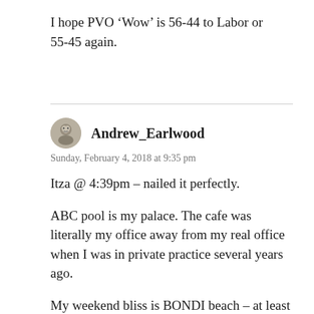I hope PVO ‘Wow’ is 56-44 to Labor or 55-45 again.
Andrew_Earlwood
Sunday, February 4, 2018 at 9:35 pm
Itza @ 4:39pm – nailed it perfectly.
ABC pool is my palace. The cafe was literally my office away from my real office when I was in private practice several years ago.
My weekend bliss is BONDI beach – at least when I can get away from my home in the Greek Pelopennese to go down there, which I